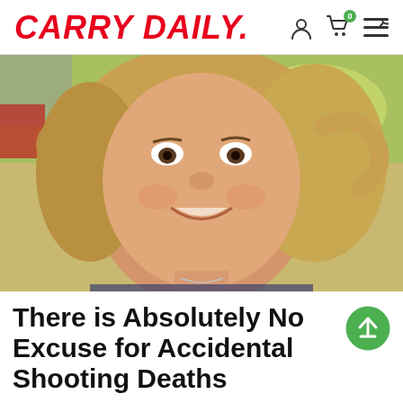CARRY DAILY.
[Figure (photo): Close-up photo of a smiling young girl with blonde hair pulled up, wearing a necklace, outdoors with a chain-link fence and colorful background visible.]
There is Absolutely No Excuse for Accidental Shooting Deaths